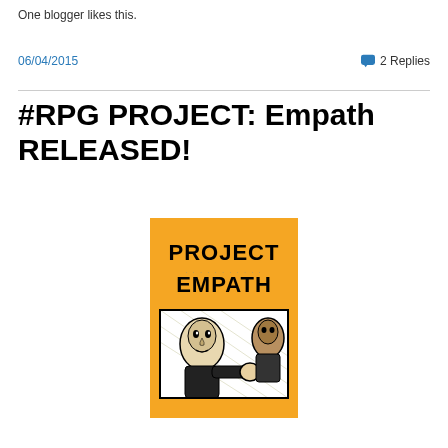One blogger likes this.
06/04/2015   💬 2 Replies
#RPG PROJECT: Empath RELEASED!
[Figure (illustration): Book cover for 'Project Empath' — orange cover with bold black text 'PROJECT EMPATH' at top and a black-and-white comic-style illustration of two figures in action below.]